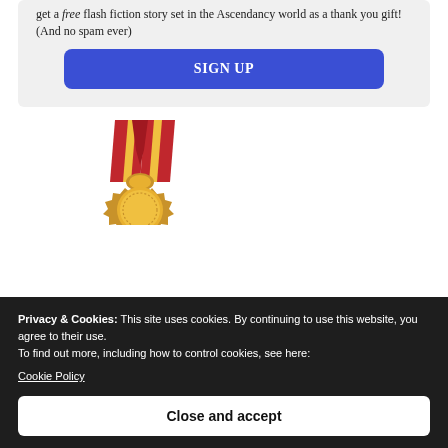get a free flash fiction story set in the Ascendancy world as a thank you gift! (And no spam ever)
[Figure (other): Blue 'SIGN UP' button with white text and rounded corners]
[Figure (illustration): Gold medal with red and gold ribbon (V-shape), partially visible, cut off at bottom]
Privacy & Cookies: This site uses cookies. By continuing to use this website, you agree to their use.
To find out more, including how to control cookies, see here:
Cookie Policy
[Figure (other): White 'Close and accept' button with rounded corners on dark background]